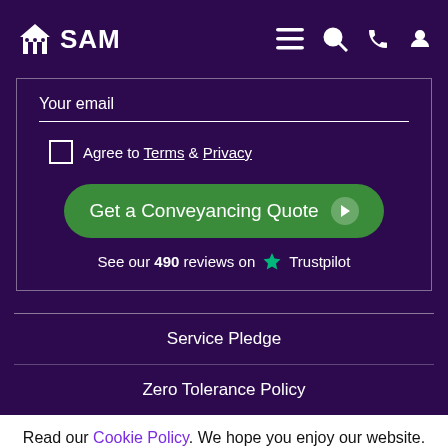[Figure (logo): SAM conveyancing logo with house icon and navigation icons (hamburger menu, search, phone, user)]
Your email
Agree to Terms & Privacy
Get a Conveyancing Quote
See our 490 reviews on Trustpilot
Service Pledge
Zero Tolerance Policy
Read our Cookie Policy. We hope you enjoy our website.
OK